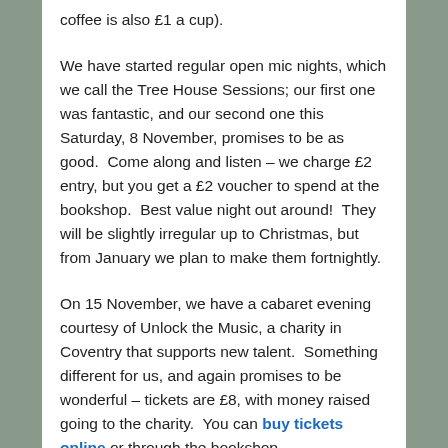coffee is also £1 a cup).
We have started regular open mic nights, which we call the Tree House Sessions; our first one was fantastic, and our second one this Saturday, 8 November, promises to be as good.  Come along and listen – we charge £2 entry, but you get a £2 voucher to spend at the bookshop.  Best value night out around!  They will be slightly irregular up to Christmas, but from January we plan to make them fortnightly.
On 15 November, we have a cabaret evening courtesy of Unlock the Music, a charity in Coventry that supports new talent.  Something different for us, and again promises to be wonderful – tickets are £8, with money raised going to the charity.  You can buy tickets online or through the bookshop.
On 6 December, we have Sharpe & Guy and The Somerville Gentlemen coming to give us an evening of folk music, each act performing either side of an